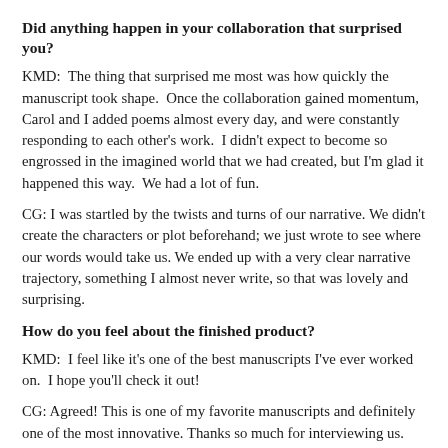Did anything happen in your collaboration that surprised you?
KMD:  The thing that surprised me most was how quickly the manuscript took shape.  Once the collaboration gained momentum, Carol and I added poems almost every day, and were constantly responding to each other's work.  I didn't expect to become so engrossed in the imagined world that we had created, but I'm glad it happened this way.  We had a lot of fun.
CG: I was startled by the twists and turns of our narrative. We didn't create the characters or plot beforehand; we just wrote to see where our words would take us. We ended up with a very clear narrative trajectory, something I almost never write, so that was lovely and surprising.
How do you feel about the finished product?
KMD:  I feel like it's one of the best manuscripts I've ever worked on.  I hope you'll check it out!
CG: Agreed! This is one of my favorite manuscripts and definitely one of the most innovative. Thanks so much for interviewing us.